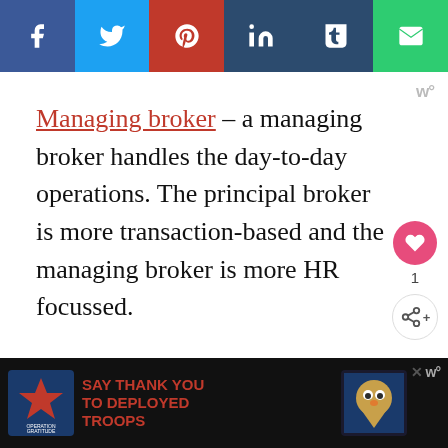[Figure (infographic): Social sharing bar with icons for Facebook (blue), Twitter (cyan), Pinterest (red), LinkedIn (dark blue), Tumblr (dark blue), and Email (green)]
Managing broker – a managing broker handles the day-to-day operations. The principal broker is more transaction-based and the managing broker is more HR focussed.
[Figure (infographic): Bottom advertisement bar for Operation Gratitude: SAY THANK YOU TO DEPLOYED TROOPS, with patriotic imagery and an owl mascot]